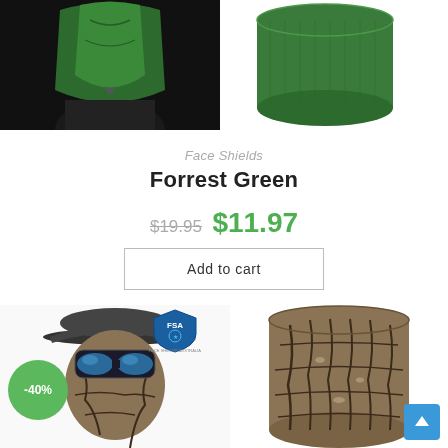[Figure (photo): Top product image: left side shows green face shield worn by person on dark background; right side shows green fabric tube/face shield product on white background]
Face Shields
Forrest Green
$19.95  $11.97
Add to cart
[Figure (photo): Bottom product image: left side shows person wearing dark baseball cap and blue mirrored goggles with camouflage tree pattern face shield; right side shows camouflage tree pattern face shield product laid flat. FSA Face Shields Australia logo visible. -40% discount badge in green circle.]